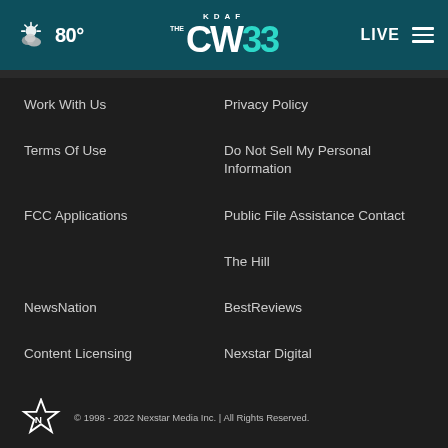80° KDAF CW 33 LIVE
Work With Us
Privacy Policy
Terms Of Use
Do Not Sell My Personal Information
FCC Applications
Public File Assistance Contact
The Hill
NewsNation
BestReviews
Content Licensing
Nexstar Digital
© 1998 - 2022 Nexstar Media Inc. | All Rights Reserved.